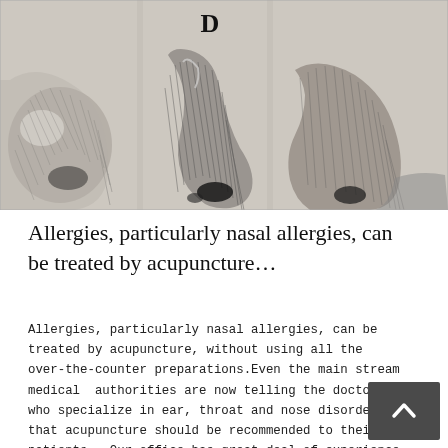[Figure (illustration): Black and white engraving-style illustration showing three nose profiles in side view. The letter 'D' is visible at the top center. The noses appear to be anatomical illustrations on a light grey background.]
Allergies, particularly nasal allergies, can be treated by acupuncture…
Allergies, particularly nasal allergies, can be treated by acupuncture, without using all the over-the-counter preparations.Even the main stream medical  authorities are now telling the doctors who specialize in ear, throat and nose disorders, that acupuncture should be recommended to their patients.  Our office has great deal of experience in treating allergies. Read here from npr.org: […]